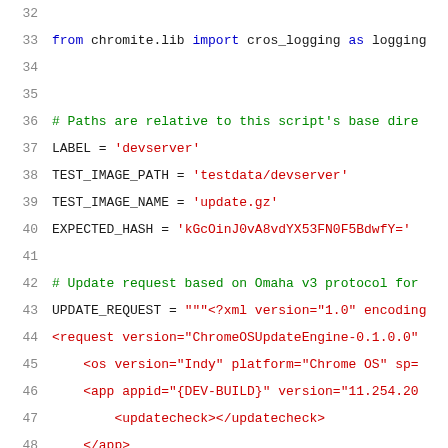32  (blank line)
33  from chromite.lib import cros_logging as logging
34  (blank line)
35  (blank line)
36  # Paths are relative to this script's base dire
37  LABEL = 'devserver'
38  TEST_IMAGE_PATH = 'testdata/devserver'
39  TEST_IMAGE_NAME = 'update.gz'
40  EXPECTED_HASH = 'kGcOinJ0vA8vdYX53FN0F5BdwfY='
41  (blank line)
42  # Update request based on Omaha v3 protocol for
43  UPDATE_REQUEST = """<?xml version="1.0" encoding
44  <request version="ChromeOSUpdateEngine-0.1.0.0"
45      <os version="Indy" platform="Chrome OS" sp=
46      <app appid="{DEV-BUILD}" version="11.254.20
47          <updatecheck></updatecheck>
48      </app>
49  </request>
50  """
51  (blank line)
52  # RPC constants.